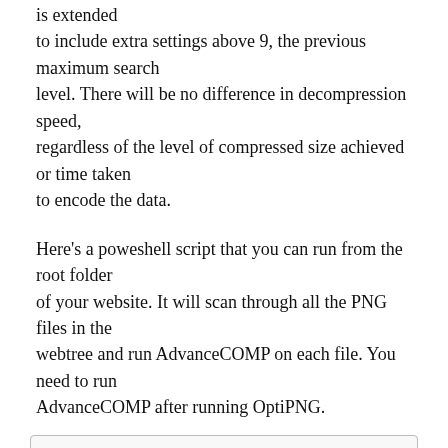is extended to include extra settings above 9, the previous maximum search level. There will be no difference in decompression speed, regardless of the level of compressed size achieved or time taken to encode the data.
Here's a poweshell script that you can run from the root folder of your website. It will scan through all the PNG files in the webtree and run AdvanceCOMP on each file. You need to run AdvanceCOMP after running OptiPNG.
gci -include *.png -recurse | foreach
  { fileName = _.FullName; cmd /c